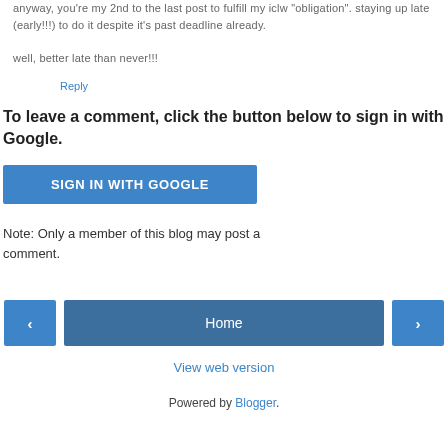anyway, you're my 2nd to the last post to fulfill my iclw "obligation". staying up late (early!!!) to do it despite it's past deadline already.

well, better late than never!!!
Reply
To leave a comment, click the button below to sign in with Google.
[Figure (other): SIGN IN WITH GOOGLE button]
Note: Only a member of this blog may post a comment.
[Figure (other): Navigation bar with left arrow button, Home button, and right arrow button]
View web version
Powered by Blogger.